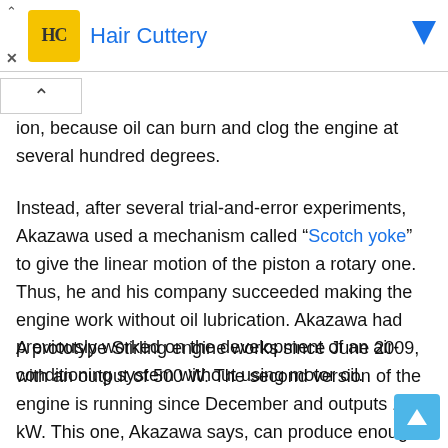[Figure (other): Advertisement banner for Hair Cuttery with logo, title in blue, and a blue arrow button on the right. An X close button and up-arrow are visible on the left side below.]
ion, because oil can burn and clog the engine at several hundred degrees.
Instead, after several trial-and-error experiments, Akazawa used a mechanism called “Scotch yoke” to give the linear motion of the piston a rotary one. Thus, he and his company succeeded making the engine work without oil lubrication. Akazawa had previously worked on the development of an air-conditioning system without using motor oil.
A prototype Stirling engine works since June 2009, with an output of 500 W. The second version of the engine is running since December and outputs 10 kW. This one, Akazawa says, can produce enough juice to feed 12 to 20 average households, if it works 24/7.